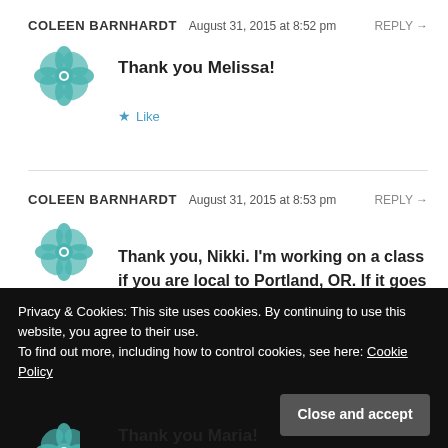COLEEN BARNHARDT   August 31, 2015 at 8:52 pm   REPLY →
[Figure (logo): Teal geometric flower/mandala avatar icon]
Thank you Melissa!
★ Like
COLEEN BARNHARDT   August 31, 2015 at 8:53 pm   REPLY →
[Figure (logo): Teal geometric flower/mandala avatar icon]
Thank you, Nikki. I'm working on a class if you are local to Portland, OR. If it goes well, I might take it further afield.
Privacy & Cookies: This site uses cookies. By continuing to use this website, you agree to their use.
To find out more, including how to control cookies, see here: Cookie Policy
Close and accept
[Figure (logo): Partial teal geometric flower/mandala avatar icon]
Thank you Maria!